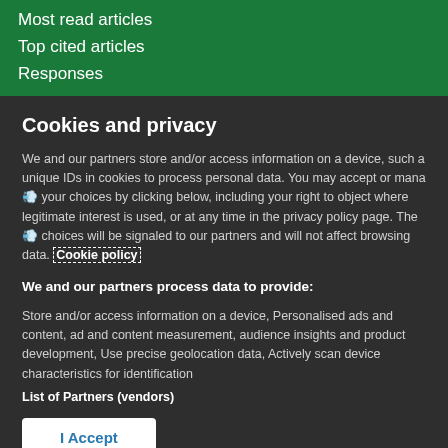Most read articles
Top cited articles
Responses
Cookies and privacy
We and our partners store and/or access information on a device, such a unique IDs in cookies to process personal data. You may accept or manage your choices by clicking below, including your right to object where legitimate interest is used, or at any time in the privacy policy page. These choices will be signaled to our partners and will not affect browsing data. Cookie policy
We and our partners process data to provide:
Store and/or access information on a device, Personalised ads and content, ad and content measurement, audience insights and product development, Use precise geolocation data, Actively scan device characteristics for identification
List of Partners (vendors)
I Accept